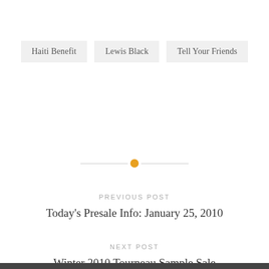Haiti Benefit
Lewis Black
Tell Your Friends
PREVIOUS POST
Today's Presale Info: January 25, 2010
NEXT POST
Winter 2010 Tourneau Sample Sale